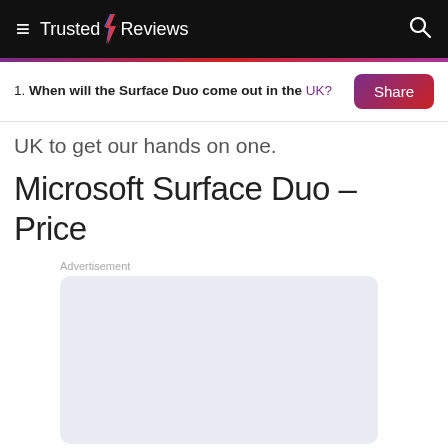Trusted Reviews
1. When will the Surface Duo come out in the UK?
UK to get our hands on one.
Microsoft Surface Duo – Price
[Figure (other): Advertisement placeholder box with light blue-grey background]